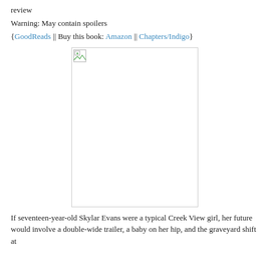review
Warning: May contain spoilers
{GoodReads || Buy this book: Amazon || Chapters/Indigo}
[Figure (photo): Book cover image placeholder (broken image icon shown) — a tall rectangular area with a broken image icon in the upper left corner]
If seventeen-year-old Skylar Evans were a typical Creek View girl, her future would involve a double-wide trailer, a baby on her hip, and the graveyard shift at